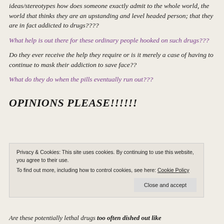ideas/stereotypes how does someone exactly admit to the whole world, the world that thinks they are an upstanding and level headed person; that they are in fact addicted to drugs????
What help is out there for these ordinary people hooked on such drugs???
Do they ever receive the help they require or is it merely a case of having to continue to mask their addiction to save face??
What do they do when the pills eventually run out???
OPINIONS PLEASE!!!!!!
Privacy & Cookies: This site uses cookies. By continuing to use this website, you agree to their use.
To find out more, including how to control cookies, see here: Cookie Policy
Are these potentially lethal drugs too often dished out like